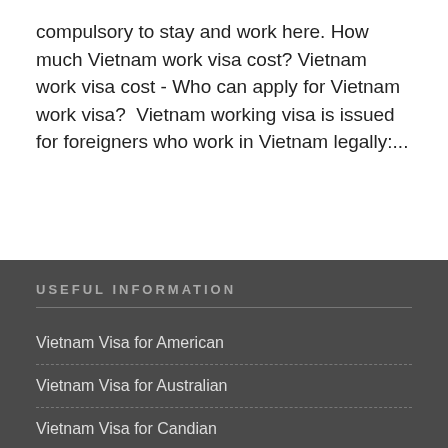compulsory to stay and work here. How much Vietnam work visa cost? Vietnam work visa cost - Who can apply for Vietnam work visa? Vietnam working visa is issued for foreigners who work in Vietnam legally:...
USEFUL INFORMATION
Vietnam Visa for American
Vietnam Visa for Australian
Vietnam Visa for Candian